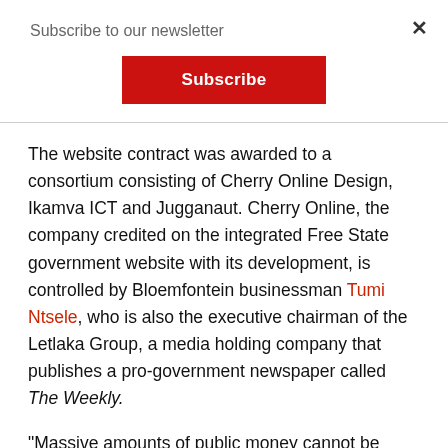Subscribe to our newsletter
Subscribe
The website contract was awarded to a consortium consisting of Cherry Online Design, Ikamva ICT and Jugganaut. Cherry Online, the company credited on the integrated Free State government website with its development, is controlled by Bloemfontein businessman Tumi Ntsele, who is also the executive chairman of the Letlaka Group, a media holding company that publishes a pro-government newspaper called The Weekly.
“Massive amounts of public money cannot be used to